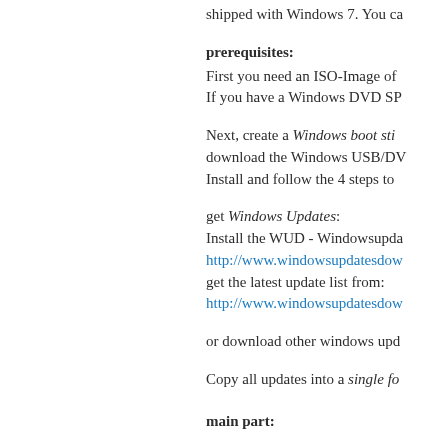shipped with Windows 7. You ca
prerequisites:
First you need an ISO-Image of
If you have a Windows DVD SP
Next, create a Windows boot sti
download the Windows USB/DV
Install and follow the 4 steps to
get Windows Updates:
Install the WUD - Windowsupda
http://www.windowsupdatesdow
get the latest update list from:
http://www.windowsupdatesdow
or download other windows upd
Copy all updates into a single fo
main part: